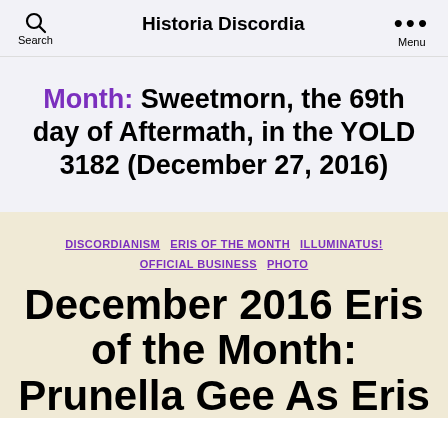Historia Discordia
Month: Sweetmorn, the 69th day of Aftermath, in the YOLD 3182 (December 27, 2016)
DISCORDIANISM
ERIS OF THE MONTH
ILLUMINATUS!
OFFICIAL BUSINESS
PHOTO
December 2016 Eris of the Month: Prunella Gee As Eris